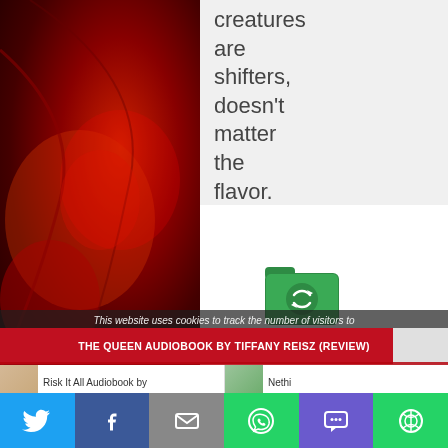[Figure (screenshot): Red/dark creature background image on left and right sides with white center panel]
creatures are shifters, doesn't matter the flavor.
[Figure (logo): Green Syncreads folder icon with circular arrows]
This website uses cookies to track the number of visitors to the
THE QUEEN AUDIOBOOK BY TIFFANY REISZ (REVIEW)
if you wish. Accept PRIVACY POLICY. This blog is for
Risk It All Audiobook by
Nethi